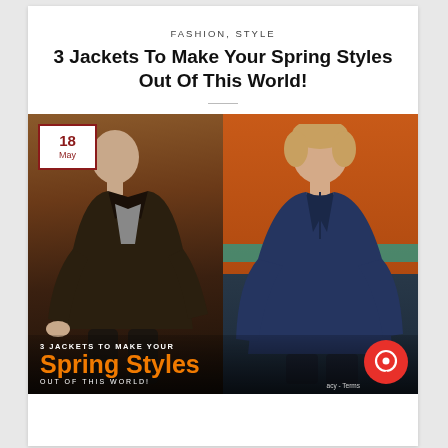FASHION, STYLE
3 Jackets To Make Your Spring Styles Out Of This World!
[Figure (photo): Photo collage of two men wearing jackets. Left: man in dark brown jacket in a brick-walled setting. Right: man in navy blue jacket against an orange/teal background. Overlaid text reads '3 JACKETS TO MAKE YOUR Spring Styles OUT OF THIS WORLD!' with a date badge '18 May' in the top-left corner and a red chat icon in the bottom-right.]